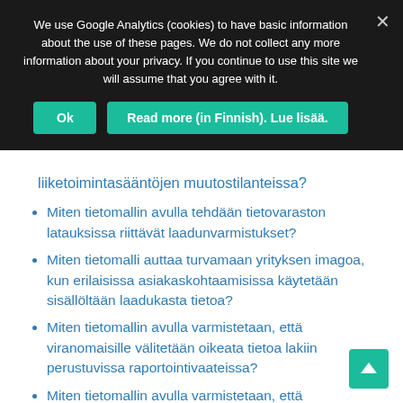We use Google Analytics (cookies) to have basic information about the use of these pages. We do not collect any more information about your privacy. If you continue to use this site we will assume that you agree with it.
Ok
Read more (in Finnish). Lue lisää.
liiketoimintasääntöjen muutostilanteissa?
Miten tietomallin avulla tehdään tietovaraston latauksissa riittävät laadunvarmistukset?
Miten tietomalli auttaa turvamaan yrityksen imagoa, kun erilaisissa asiakaskohtaamisissa käytetään sisällöltään laadukasta tietoa?
Miten tietomallin avulla varmistetaan, että viranomaisille välitetään oikeata tietoa lakiin perustuvissa raportointivaateissa?
Miten tietomallin avulla varmistetaan, että